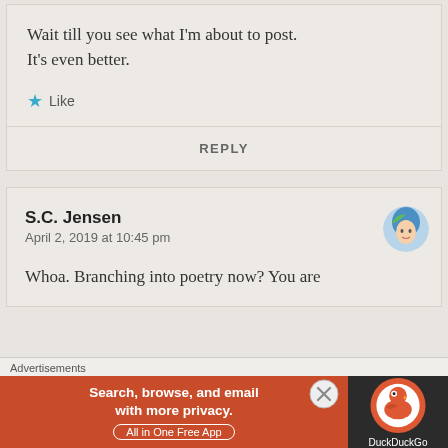Wait till you see what I'm about to post. It's even better.
★ Like
REPLY
S.C. Jensen
April 2, 2019 at 10:45 pm
[Figure (illustration): Avatar/profile image of S.C. Jensen — stylized illustration of a woman with blue and green hair]
Whoa. Branching into poetry now? You are
Advertisements
[Figure (screenshot): DuckDuckGo advertisement banner: orange section reading 'Search, browse, and email with more privacy. All in One Free App' and dark section with DuckDuckGo logo]